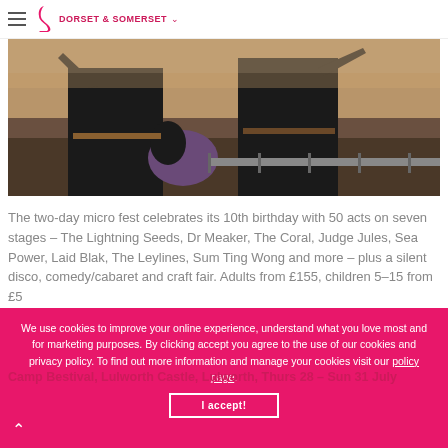DORSET & SOMERSET
[Figure (photo): Outdoor music festival scene showing people in black clothing at a daytime event]
The two-day micro fest celebrates its 10th birthday with 50 acts on seven stages – The Lightning Seeds, Dr Meaker, The Coral, Judge Jules, Sea Power, Laid Blak, The Leylines, Sum Ting Wong and more – plus a silent disco, comedy/cabaret and craft fair. Adults from £155, children 5–15 from £5
We use cookies to improve your online experience, understand what you love most and for marketing purposes. By clicking accept you agree to the use of our cookies and privacy policy. To find out more information and manage your cookies visit our policy page.
Camp Bestival, Lulworth Castle, Lulworth, Thurs 28 – Sun 31 July